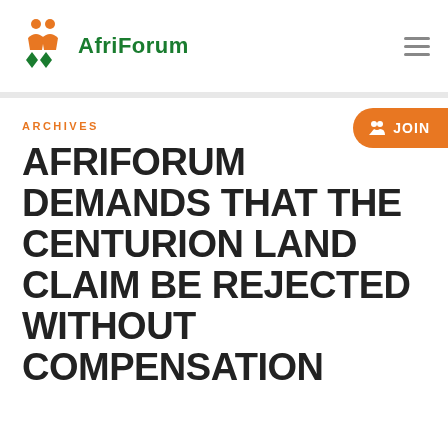[Figure (logo): AfriForum logo with orange people icon, green diamond shapes, and green AfriForum text]
ARCHIVES
AFRIFORUM DEMANDS THAT THE CENTURION LAND CLAIM BE REJECTED WITHOUT COMPENSATION